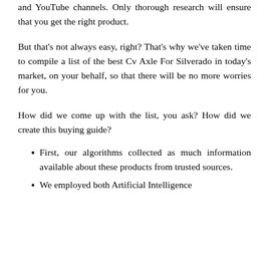and YouTube channels. Only thorough research will ensure that you get the right product.
But that’s not always easy, right? That's why we've taken time to compile a list of the best Cv Axle For Silverado in today's market, on your behalf, so that there will be no more worries for you.
How did we come up with the list, you ask? How did we create this buying guide?
First, our algorithms collected as much information available about these products from trusted sources.
We employed both Artificial Intelligence